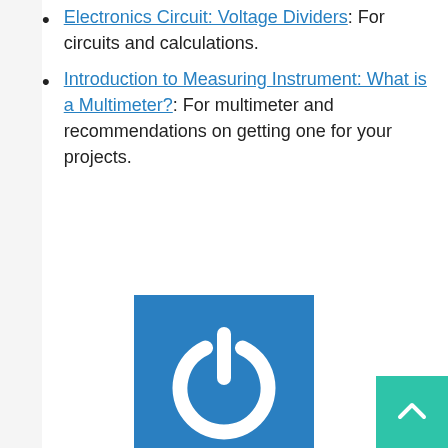Electronics Circuit: Voltage Dividers: For circuits and calculations.
Introduction to Measuring Instrument: What is a Multimeter?: For multimeter and recommendations on getting one for your projects.
[Figure (logo): Blue square logo with a white power button icon]
Gigi